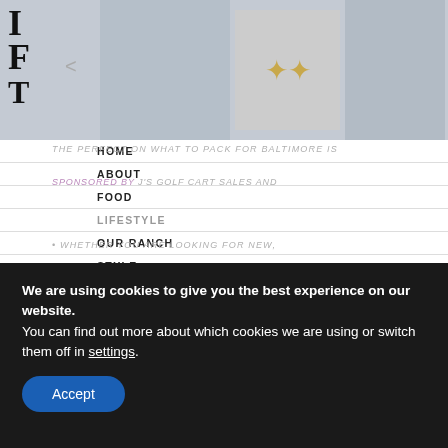[Figure (screenshot): Website header with product images (person in outfit, gold leaf earrings, gray sneaker boot) on gray background. Logo letters visible top-left.]
HOME
ABOUT
FOOD
LIFESTYLE
OUR RANCH
STYLE
TRAVEL
SHOP
HOLIDAYS
THE PERFECT ON WHAT TO PACK FOR BALTIMORE IS
SPONSORED BY J'S GOLF CART SALES AND
WHETHER YOU ARE LOOKING FOR NEW,
PRE-OWNED, CUSTOM BUILT GOLF CARTS OR EVEN LEASING AND RENTAL OPTIONS, J'S HAS THE SOLUTION FOR YOU.
We are using cookies to give you the best experience on our website.
You can find out more about which cookies we are using or switch them off in settings.
Accept